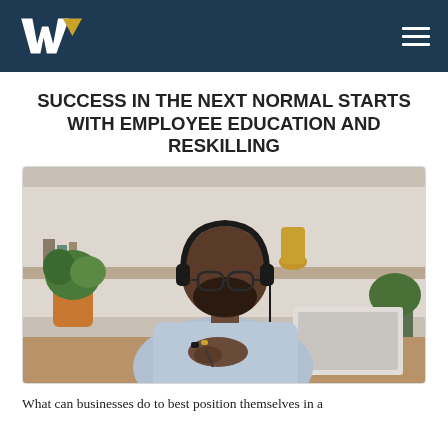SUCCESS IN THE NEXT NORMAL STARTS WITH EMPLOYEE EDUCATION AND RESKILLING
[Figure (photo): A man wearing headphones and glasses, sitting at a desk writing on a notepad with a laptop open in front of him, plants visible in the background on wooden shelves.]
What can businesses do to best position themselves in a